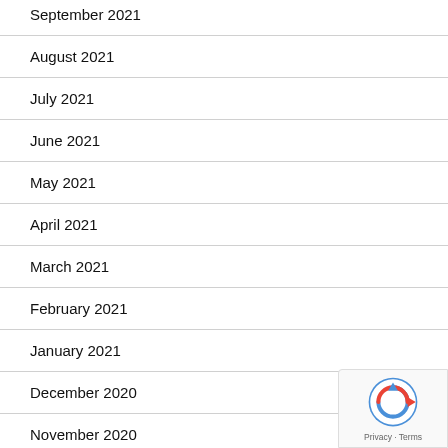September 2021
August 2021
July 2021
June 2021
May 2021
April 2021
March 2021
February 2021
January 2021
December 2020
November 2020
October 2020
September 2020
[Figure (logo): Google reCAPTCHA badge with Privacy and Terms links]